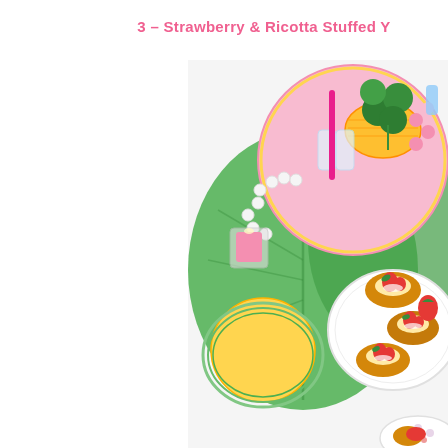3 – Strawberry & Ricotta Stuffed Y
[Figure (photo): Overhead flat-lay photo of a party table spread with a pink decorative tray holding glasses with a hot-pink straw, green clover plant, pink candy/decorations, a gold basket; white wooden bead garland; pink candle in glass holder; glass of orange juice on a green woven coaster; white plate with strawberry and ricotta stuffed pastry rolls garnished with fresh strawberries and mint; floral pink plates partially visible at bottom right; all on a white surface with large green tropical leaf mat.]